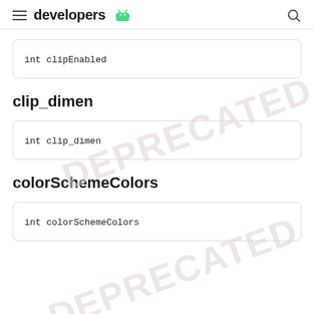developers
int clipEnabled
clip_dimen
int clip_dimen
colorSchemeColors
int colorSchemeColors